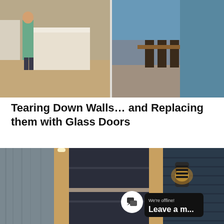[Figure (photo): Two-panel interior photo: left shows a person in a teal shirt standing at a white kitchen island with light wood flooring; right shows a dining area with dark chairs and a view of an outdoor pool area.]
Tearing Down Walls… and Replacing them with Glass Doors
[Figure (photo): Exterior photo of a modern dark door with horizontal panel design set between weathered wood and dark blue horizontal siding. An outdoor wall-mounted lantern glows on the right side. A chat widget overlay shows 'We're offline! Leave a m...' in dark bubble with a white circular icon.]